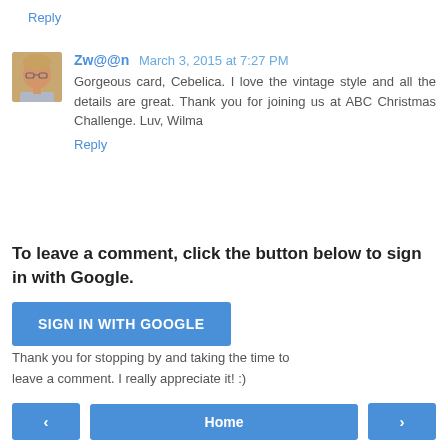Reply
[Figure (photo): Avatar photo of commenter Zw@@n, a woman with glasses]
Zw@@n March 3, 2015 at 7:27 PM
Gorgeous card, Cebelica. I love the vintage style and all the details are great. Thank you for joining us at ABC Christmas Challenge. Luv, Wilma
Reply
To leave a comment, click the button below to sign in with Google.
SIGN IN WITH GOOGLE
Thank you for stopping by and taking the time to leave a comment. I really appreciate it! :)
< Home >